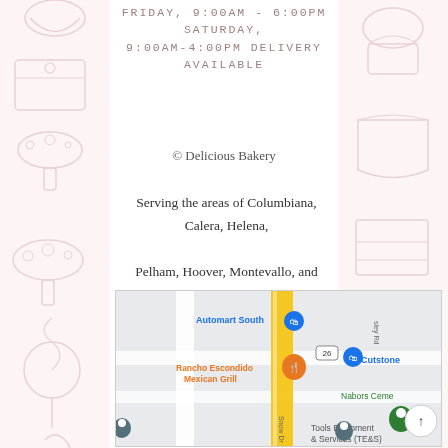FRIDAY, 9:00AM - 6:00PM SATURDAY, 9:00AM-4:00PM DELIVERY AVAILABLE
© Delicious Bakery
Serving the areas of Columbiana, Calera, Helena, Pelham, Hoover, Montevallo, and greater Birmingham
[Figure (map): Google Maps screenshot showing the area with landmarks: Automart South, Rancho Escondido Mexican Grill, Cutstone, Nabors Cemetery, Tools Equipment & Services (TE&S), with a yellow main road and route 26 marker]